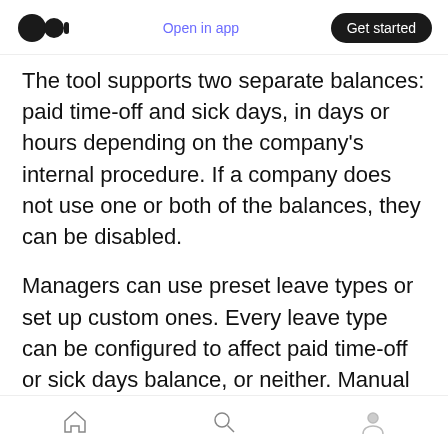Open in app | Get started
The tool supports two separate balances: paid time-off and sick days, in days or hours depending on the company's internal procedure. If a company does not use one or both of the balances, they can be disabled.
Managers can use preset leave types or set up custom ones. Every leave type can be configured to affect paid time-off or sick days balance, or neither. Manual corrections of both balances are also possible.
For those employees whose vacation accrual rules
Home | Search | Profile